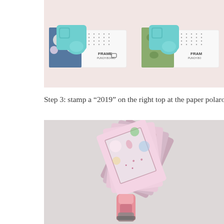[Figure (photo): Top photo showing two craft frame punch boards with teal/mint colored corner punches and decorative floral patterned paper being used with the punch boards. The boards are labeled 'FRAME PUNCH BOARD'. Left board has blue floral paper, right has green leaf pattern paper.]
Step 3: stamp a “2019” on the right top at the paper polaro
[Figure (photo): Bottom photo showing several paper polaroid-style frames made from floral patterned paper (pink background with botanical prints) fanned out and held by hand. A pink stamp tool/marker is visible in the foreground. The frames have rectangular cutouts in the center.]